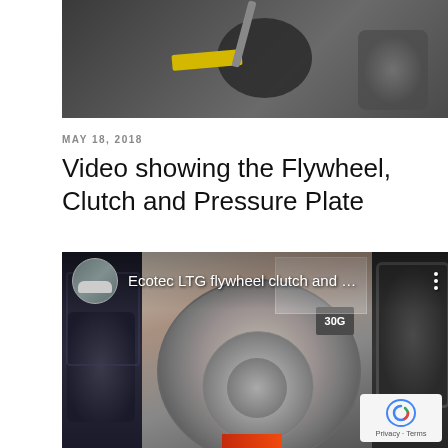[Figure (photo): Dark close-up photo of a mechanical component (clutch/flywheel area) with a yellow-labeled tool and a dark circular disc visible]
MAY 18, 2018
Video showing the Flywheel, Clutch and Pressure Plate
[Figure (screenshot): YouTube video thumbnail showing 'Ecotec LTG flywheel clutch and ...' with a clutch disc in the center, dark mechanical gear panels on left and right, a channel avatar, three-dot menu icon, and a Privacy/Terms reCAPTCHA badge in the bottom right corner]